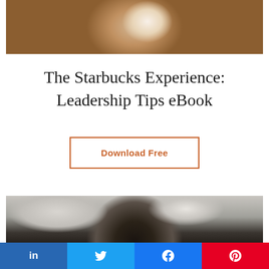[Figure (photo): Close-up photo of a hand holding a white coffee cup with latte art on top]
The Starbucks Experience: Leadership Tips eBook
Download Free
[Figure (photo): Photo of a person from above, showing the top of their head against a blurred indoor background]
in  (LinkedIn share button)
🐦 (Twitter share button)
f (Facebook share button)
P (Pinterest share button)